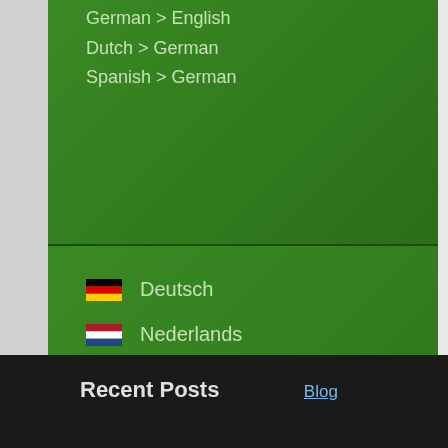German > English
Dutch > German
Spanish > German
Deutsch
Nederlands
English
Español
Recent Posts
Blog